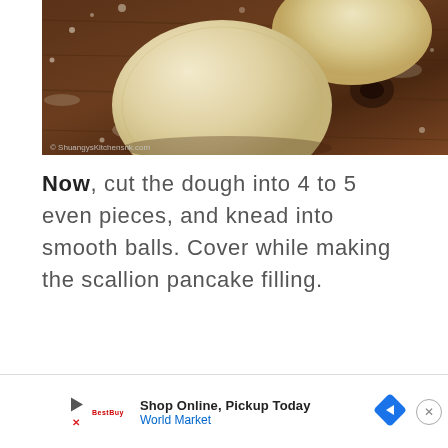[Figure (photo): Overhead view of two smooth dough balls on a floured dark wooden surface, with a watermark reading '© ShuangysKitchensnk.com' in the lower-left corner.]
Now, cut the dough into 4 to 5 even pieces, and knead into smooth balls. Cover while making the scallion pancake filling.
Shop Online, Pickup Today — World Market (advertisement)